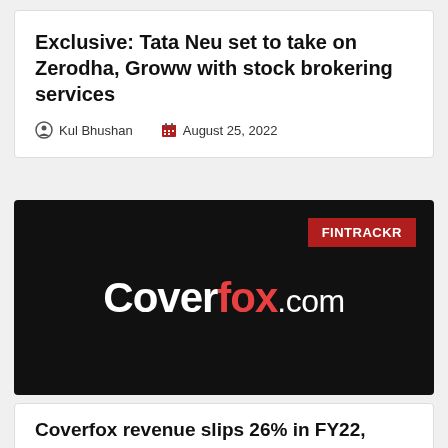Exclusive: Tata Neu set to take on Zerodha, Groww with stock brokering services
Kul Bhushan   August 25, 2022
[Figure (logo): Coverfox.com logo on black background with FINTRACKR badge in top right corner]
Coverfox revenue slips 26% in FY22, losses shrink 60%